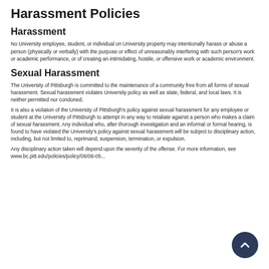Harassment Policies
Harassment
No University employee, student, or individual on University property may intentionally harass or abuse a person (physically or verbally) with the purpose or effect of unreasonably interfering with such person's work or academic performance, or of creating an intimidating, hostile, or offensive work or academic environment.
Sexual Harassment
The University of Pittsburgh is committed to the maintenance of a community free from all forms of sexual harassment. Sexual harassment violates University policy as well as state, federal, and local laws. It is neither permitted nor condoned.
It is also a violation of the University of Pittsburgh's policy against sexual harassment for any employee or student at the University of Pittsburgh to attempt in any way to retaliate against a person who makes a claim of sexual harassment. Any individual who, after thorough investigation and an informal or formal hearing, is found to have violated the University's policy against sexual harassment will be subject to disciplinary action, including, but not limited to, reprimand, suspension, termination, or expulsion.
Any disciplinary action taken will depend upon the severity of the offense. For more information, see www.bc.pitt.edu/policies/policy/06/06-05...